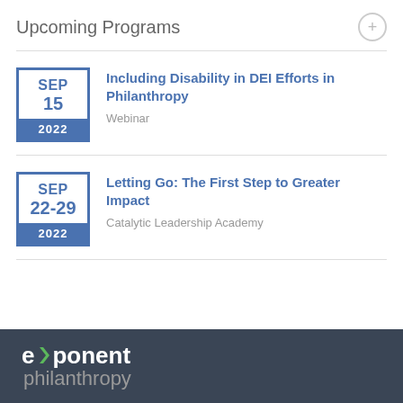Upcoming Programs
SEP 15 2022 — Including Disability in DEI Efforts in Philanthropy — Webinar
SEP 22-29 2022 — Letting Go: The First Step to Greater Impact — Catalytic Leadership Academy
[Figure (logo): Exponent Philanthropy logo on dark background with green arrow accent]